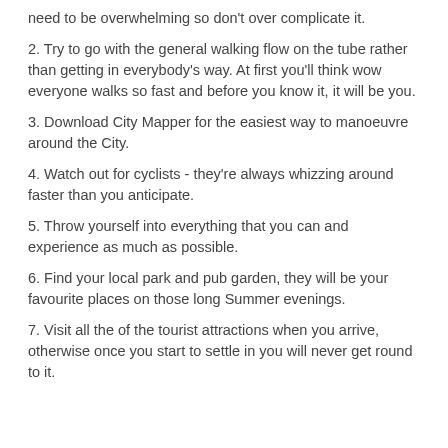need to be overwhelming so don't over complicate it.
2. Try to go with the general walking flow on the tube rather than getting in everybody's way. At first you'll think wow everyone walks so fast and before you know it, it will be you.
3. Download City Mapper for the easiest way to manoeuvre around the City.
4. Watch out for cyclists - they're always whizzing around faster than you anticipate.
5. Throw yourself into everything that you can and experience as much as possible.
6. Find your local park and pub garden, they will be your favourite places on those long Summer evenings.
7. Visit all the of the tourist attractions when you arrive, otherwise once you start to settle in you will never get round to it.